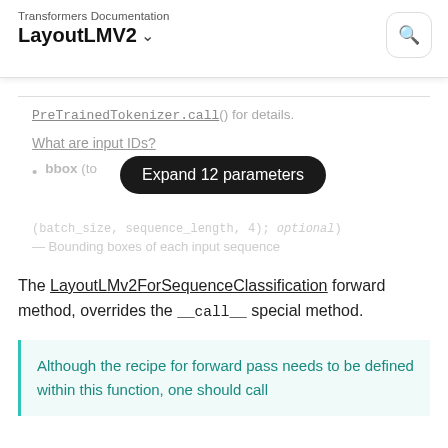Transformers Documentation LayoutLMV2
PreTrainedTokenizer.call() for details.
What are input IDs?
bbox (to...
Expand 12 parameters
(batch_size, sequence_length, 4); optional) — Bounding boxes of each input sequence
The LayoutLMv2ForSequenceClassification forward method, overrides the __call__ special method.
Although the recipe for forward pass needs to be defined within this function, one should call